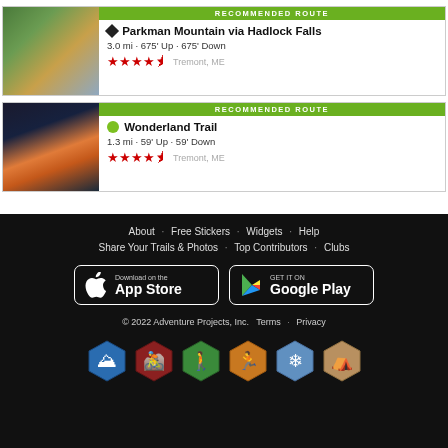[Figure (screenshot): Trail card for Parkman Mountain via Hadlock Falls with mountain photo thumbnail, recommended route banner, 4.5 stars, Tremont ME]
[Figure (screenshot): Trail card for Wonderland Trail with sunset photo thumbnail, recommended route banner, 4.5 stars, Tremont ME]
About · Free Stickers · Widgets · Help · Share Your Trails & Photos · Top Contributors · Clubs · Download on the App Store · GET IT ON Google Play · © 2022 Adventure Projects, Inc. Terms · Privacy